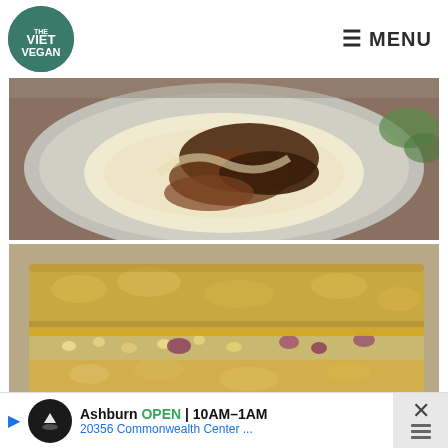THE VIET VEGAN | MENU
[Figure (photo): Close-up food photo showing a roasted or charred dish with hummus or cream on a grey ceramic plate, viewed from above]
[Figure (photo): Close-up food photo of a vegan sandwich stacked with grainy bread slices, melted cheese-like layer, and chickpea salad filling with red onion]
Ashburn OPEN 10AM–1AM 20356 Commonwealth Center ...